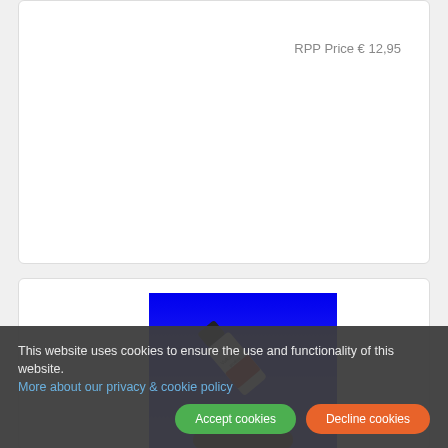RPP Price € 12,95
[Figure (photo): Product image: a bottle/tube with red and white packaging on a blue background, partially visible hand at bottom]
This website uses cookies to ensure the use and functionality of this website. More about our privacy & cookie policy
Accept cookies
Decline cookies